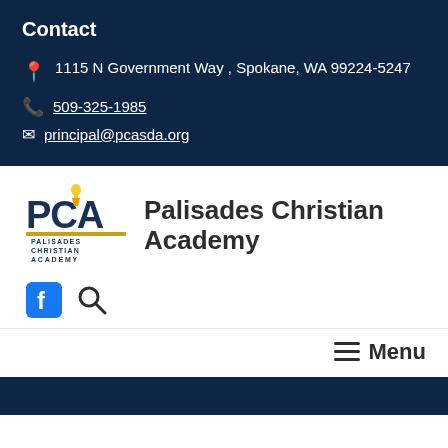Contact
1115 N Government Way , Spokane, WA 99224-5247
509-325-1985
principal@pcasda.org
[Figure (logo): PCA - Palisades Christian Academy logo with torch icon and gold underline, text below reads PALISADES CHRISTIAN ACADEMY]
Palisades Christian Academy
[Figure (other): Facebook icon (f) and search/magnify icon]
Menu